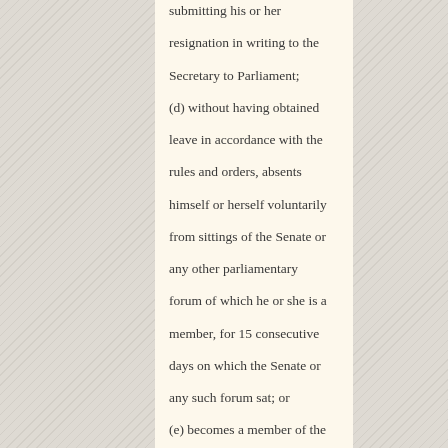submitting his or her resignation in writing to the Secretary to Parliament; (d) without having obtained leave in accordance with the rules and orders, absents himself or herself voluntarily from sittings of the Senate or any other parliamentary forum of which he or she is a member, for 15 consecutive days on which the Senate or any such forum sat; or (e) becomes a member of the National Assembly, a provincial legislature or a local government. (2)(a) If a senator vacates his